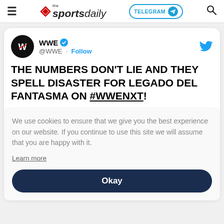the sportsdaily | TELEGRAM | Search
[Figure (screenshot): WWE Twitter/X tweet card. WWE account with verified badge and Follow button. Tweet text: THE NUMBERS DON'T LIE AND THEY SPELL DISASTER FOR LEGADO DEL FANTASMA ON #WWENXT! Overlaid by cookie consent: 'We use cookies to ensure that we give you the best experience on our website. If you continue to use this site we will assume that you are happy with it. Learn more' and an Okay button.]
THE NUMBERS DON'T LIE AND THEY SPELL DISASTER FOR LEGADO DEL FANTASMA ON #WWENXT!
We use cookies to ensure that we give you the best experience on our website. If you continue to use this site we will assume that you are happy with it.
Learn more
Okay